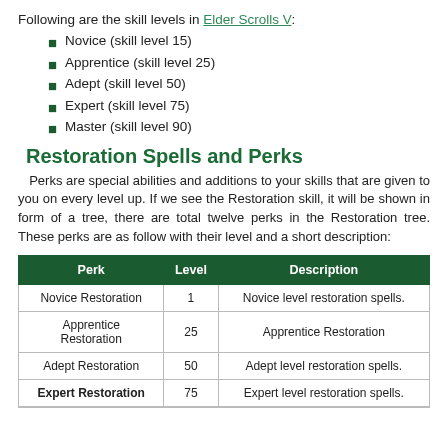Following are the skill levels in Elder Scrolls V:
Novice (skill level 15)
Apprentice (skill level 25)
Adept (skill level 50)
Expert (skill level 75)
Master (skill level 90)
Restoration Spells and Perks
Perks are special abilities and additions to your skills that are given to you on every level up. If we see the Restoration skill, it will be shown in form of a tree, there are total twelve perks in the Restoration tree. These perks are as follow with their level and a short description:
| Perk | Level | Description |
| --- | --- | --- |
| Novice Restoration | 1 | Novice level restoration spells. |
| Apprentice Restoration | 25 | Apprentice Restoration |
| Adept Restoration | 50 | Adept level restoration spells. |
| Expert Restoration | 75 | Expert level restoration spells. |